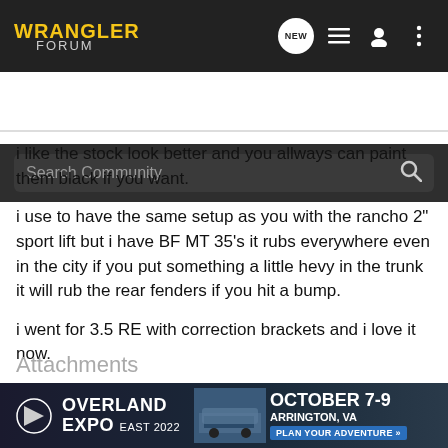WRANGLER FORUM
Search Community
i like the stock look better and you allways can paint them black if you want.
i use to have the same setup as you with the rancho 2" sport lift but i have BF MT 35's it rubs everywhere even in the city if you put something a little hevy in the trunk it will rub the rear fenders if you hit a bump.
i went for 3.5 RE with correction brackets and i love it now.
Attachments
[Figure (photo): Two attachment thumbnail images from a forum post]
[Figure (infographic): Overland Expo East 2022 advertisement banner - October 7-9, Arrington, VA - Plan Your Adventure]